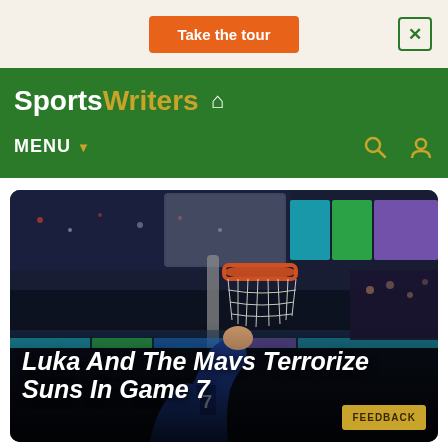Take the tour
SportsWriters
MENU ▾
[Figure (photo): Basketball player (Luka Doncic, Dallas Mavericks) dunking or hanging near the rim in an NBA arena during a playoff game, viewed from below the basket. The orange basketball rim and white net are visible at top. Colorful LED boards in background.]
Luka And The Mavs Terrorize Suns In Game 7